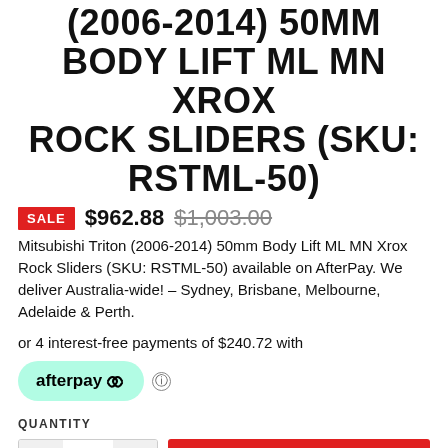(2006-2014) 50MM BODY LIFT ML MN XROX ROCK SLIDERS (SKU: RSTML-50)
SALE $962.88 $1,003.00
Mitsubishi Triton (2006-2014) 50mm Body Lift ML MN Xrox Rock Sliders (SKU: RSTML-50) available on AfterPay. We deliver Australia-wide! – Sydney, Brisbane, Melbourne, Adelaide & Perth.
or 4 interest-free payments of $240.72 with
[Figure (logo): Afterpay logo badge in mint green rounded pill shape]
QUANTITY
− 1 + ADD TO CART